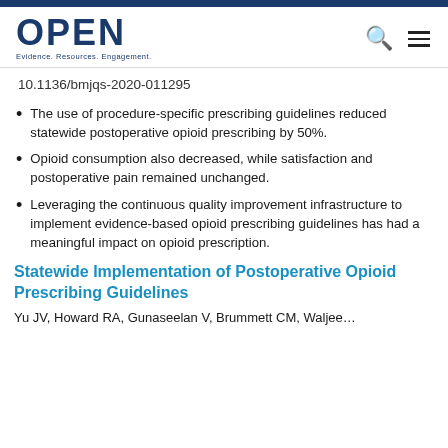OPEN — Evidence. Resources. Engagement.
10.1136/bmjqs-2020-011295
The use of procedure-specific prescribing guidelines reduced statewide postoperative opioid prescribing by 50%.
Opioid consumption also decreased, while satisfaction and postoperative pain remained unchanged.
Leveraging the continuous quality improvement infrastructure to implement evidence-based opioid prescribing guidelines has had a meaningful impact on opioid prescription.
Statewide Implementation of Postoperative Opioid Prescribing Guidelines
Yu JV, Howard RA, Gunaseelan V, Brummett CM, Waljee…